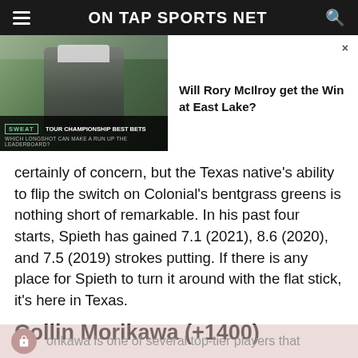ON TAP SPORTS NET
[Figure (screenshot): Video thumbnail showing a man in a white cap being interviewed outdoors, with a lower-third graphic reading 'TOUR CHAMPIONSHIP BEST BETS — WHICH LONGSHOT CAN MAKE A RUN UP THE LEADERBOARD?']
Will Rory McIlroy get the Win at East Lake?
certainly of concern, but the Texas native's ability to flip the switch on Colonial's bentgrass greens is nothing short of remarkable. In his past four starts, Spieth has gained 7.1 (2021), 8.6 (2020), and 7.5 (2019) strokes putting. If there is any place for Spieth to turn it around with the flat stick, it's here in Texas.
Collin Morikawa (+1400)
orikawa is one of several top-tier players that